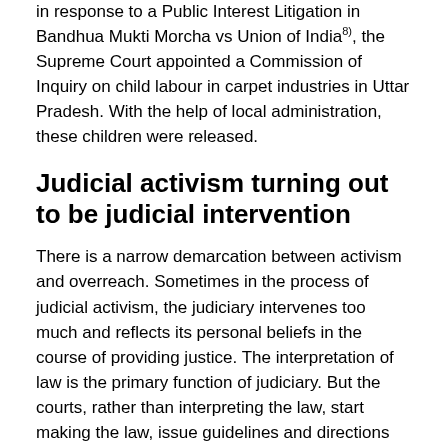in response to a Public Interest Litigation in Bandhua Mukti Morcha vs Union of India8), the Supreme Court appointed a Commission of Inquiry on child labour in carpet industries in Uttar Pradesh. With the help of local administration, these children were released.
Judicial activism turning out to be judicial intervention
There is a narrow demarcation between activism and overreach. Sometimes in the process of judicial activism, the judiciary intervenes too much and reflects its personal beliefs in the course of providing justice. The interpretation of law is the primary function of judiciary. But the courts, rather than interpreting the law, start making the law, issue guidelines and directions which is to be done by the legislature. Due to judicial overreach, conflict takes place between the legislature and judiciary. Besides this, the separation of powers on which the democracy stands is destroyed by the judicial overreach.